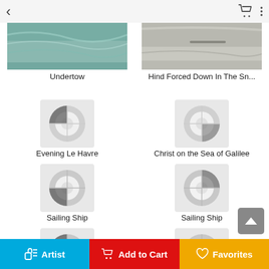< [back] [cart] [menu]
[Figure (photo): Partial top image of water/sea scene labeled Undertow]
Undertow
[Figure (photo): Partial top image of snowy scene labeled Hind Forced Down In The Sn...]
Hind Forced Down In The Sn...
[Figure (illustration): Placeholder ring/loading icon for Evening Le Havre]
Evening Le Havre
[Figure (illustration): Placeholder ring/loading icon for Christ on the Sea of Galilee]
Christ on the Sea of Galilee
[Figure (illustration): Placeholder ring/loading icon for Sailing Ship]
Sailing Ship
[Figure (illustration): Placeholder ring/loading icon for Sailing Ship]
Sailing Ship
[Figure (illustration): Placeholder ring/loading icon for Sailing Ship]
Sailing Ship
[Figure (illustration): Placeholder ring/loading icon for Sailing Ship]
Sailing Ship
[Figure (illustration): Placeholder ring/loading icon for The Clipper Ship Flying Cloud]
The Clipper Ship Flying Cloud
[Figure (illustration): Placeholder ring/loading icon for The Storm or The Shipwreck]
The Storm or The Shipwreck
Artist | Add to Cart | Favorites